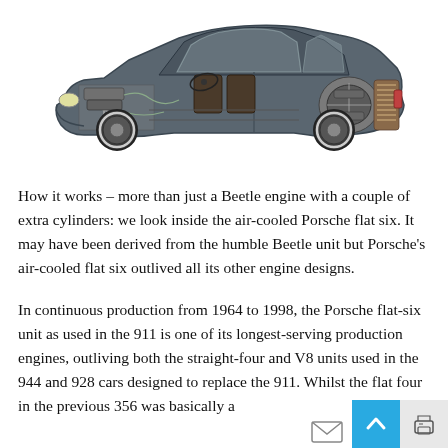[Figure (illustration): Cutaway engineering illustration of a Porsche 911, showing the internal components including engine, suspension, interior, and mechanical systems in cross-section view.]
How it works – more than just a Beetle engine with a couple of extra cylinders: we look inside the air-cooled Porsche flat six. It may have been derived from the humble Beetle unit but Porsche's air-cooled flat six outlived all its other engine designs.
In continuous production from 1964 to 1998, the Porsche flat-six unit as used in the 911 is one of its longest-serving production engines, outliving both the straight-four and V8 units used in the 944 and 928 cars designed to replace the 911. Whilst the flat four in the previous 356 was basically a